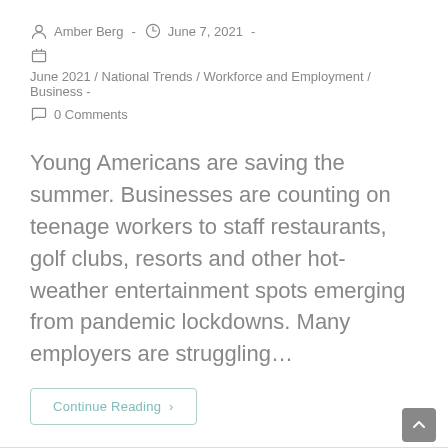Amber Berg - June 7, 2021 -
June 2021 / National Trends / Workforce and Employment / Business -
0 Comments
Young Americans are saving the summer. Businesses are counting on teenage workers to staff restaurants, golf clubs, resorts and other hot-weather entertainment spots emerging from pandemic lockdowns. Many employers are struggling...
Continue Reading >